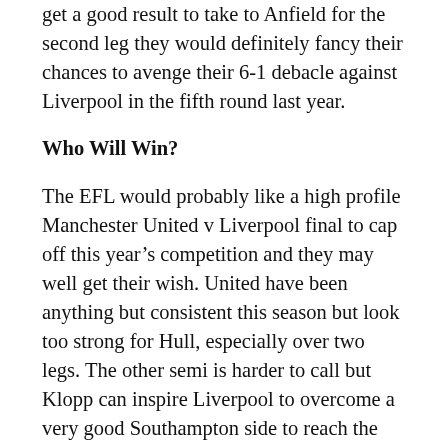get a good result to take to Anfield for the second leg they would definitely fancy their chances to avenge their 6-1 debacle against Liverpool in the fifth round last year.
Who Will Win?
The EFL would probably like a high profile Manchester United v Liverpool final to cap off this year's competition and they may well get their wish. United have been anything but consistent this season but look too strong for Hull, especially over two legs. The other semi is harder to call but Klopp can inspire Liverpool to overcome a very good Southampton side to reach the final.
Although it isn't always the best indicator of